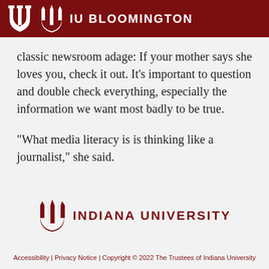IU BLOOMINGTON
classic newsroom adage: If your mother says she loves you, check it out. It's important to question and double check everything, especially the information we want most badly to be true.
“What media literacy is is thinking like a journalist,” she said.
[Figure (logo): Indiana University trident logo with text INDIANA UNIVERSITY in dark red]
Accessibility | Privacy Notice | Copyright © 2022 The Trustees of Indiana University